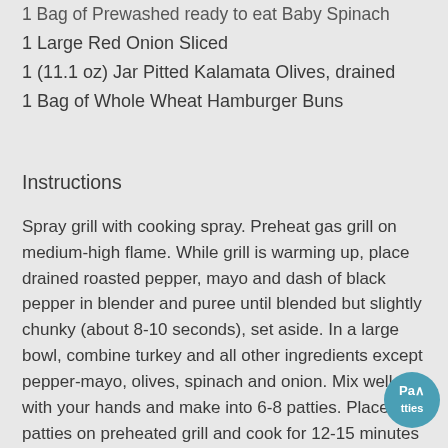1 Bag of Prewashed ready to eat Baby Spinach
1 Large Red Onion Sliced
1 (11.1 oz) Jar Pitted Kalamata Olives, drained
1 Bag of Whole Wheat Hamburger Buns
Instructions
Spray grill with cooking spray. Preheat gas grill on medium-high flame. While grill is warming up, place drained roasted pepper, mayo and dash of black pepper in blender and puree until blended but slightly chunky (about 8-10 seconds), set aside. In a large bowl, combine turkey and all other ingredients except pepper-mayo, olives, spinach and onion. Mix well with your hands and make into 6-8 patties. Place patties on preheated grill and cook for 12-15 minutes using medium-high flame, flipping over patties half way through cook time. Patties should be golden brown on the outside. Place cooked patties